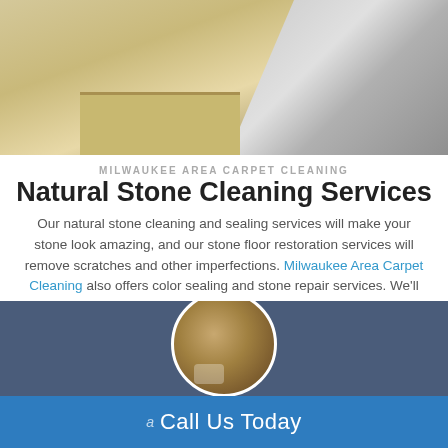[Figure (photo): Marble/stone bathroom interior with beige stone tiles, steps, and glass shower enclosure]
MILWAUKEE AREA CARPET CLEANING
Natural Stone Cleaning Services
Our natural stone cleaning and sealing services will make your stone look amazing, and our stone floor restoration services will remove scratches and other imperfections. Milwaukee Area Carpet Cleaning also offers color sealing and stone repair services. We'll make your stone floors, countertops, and showers sparkle!
[Figure (photo): Circular inset photo of stone cleaning tools on a stone surface, set against a dark blue-gray background banner]
a Call Us Today